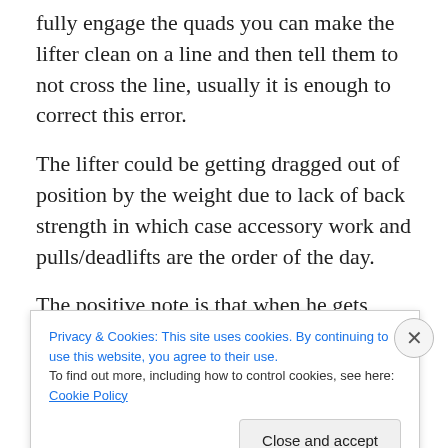fully engage the quads you can make the lifter clean on a line and then tell them to not cross the line, usually it is enough to correct this error.
The lifter could be getting dragged out of position by the weight due to lack of back strength in which case accessory work and pulls/deadlifts are the order of the day.
The positive note is that when he gets more comfortable working at his top end and finishing his pull, the weights will shoot up.
Privacy & Cookies: This site uses cookies. By continuing to use this website, you agree to their use.
To find out more, including how to control cookies, see here: Cookie Policy
Close and accept